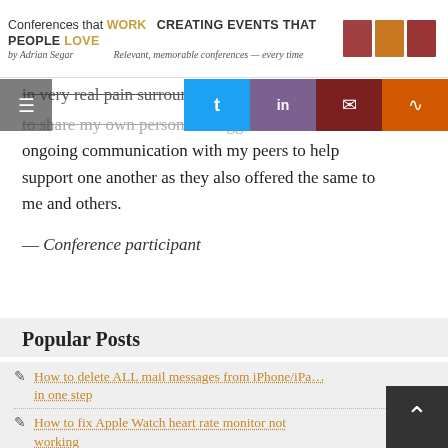Conferences that WORK CREATING EVENTS THAT PEOPLE LOVE by Adrian Segar — Relevant, memorable conferences — every time
in very real pain surrounding [highlighted text] to share my own personal struggles and offered ongoing communication with my peers to help support one another as they also offered the same to me and others.
— Conference participant
Popular Posts
How to delete ALL mail messages from iPhone/iPad in one step
How to fix Apple Watch heart rate monitor not working
Anatomy of a name badge
How to move an unlimited AT&T data plan to a